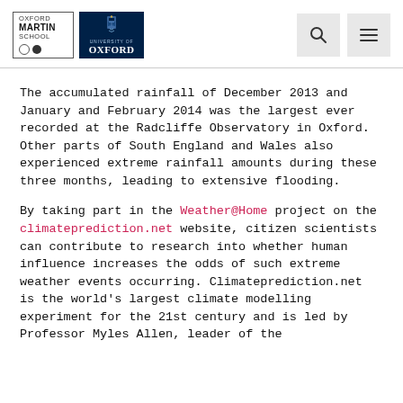Oxford Martin School | University of Oxford
The accumulated rainfall of December 2013 and January and February 2014 was the largest ever recorded at the Radcliffe Observatory in Oxford. Other parts of South England and Wales also experienced extreme rainfall amounts during these three months, leading to extensive flooding.
By taking part in the Weather@Home project on the climateprediction.net website, citizen scientists can contribute to research into whether human influence increases the odds of such extreme weather events occurring. Climateprediction.net is the world's largest climate modelling experiment for the 21st century and is led by Professor Myles Allen, leader of the